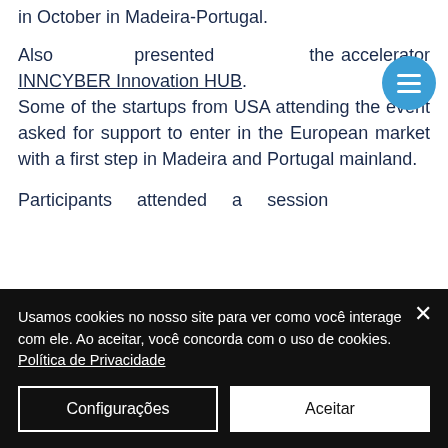in October in Madeira-Portugal.
Also presented the accelerator INNCYBER Innovation HUB. Some of the startups from USA attending the event asked for support to enter in the European market with a first step in Madeira and Portugal mainland.
Participants attended a session
Usamos cookies no nosso site para ver como você interage com ele. Ao aceitar, você concorda com o uso de cookies. Política de Privacidade
Configurações
Aceitar